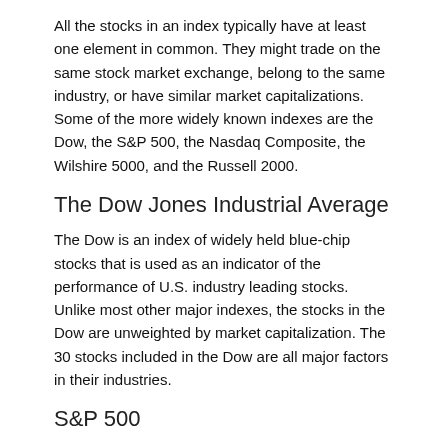All the stocks in an index typically have at least one element in common. They might trade on the same stock market exchange, belong to the same industry, or have similar market capitalizations. Some of the more widely known indexes are the Dow, the S&P 500, the Nasdaq Composite, the Wilshire 5000, and the Russell 2000.
The Dow Jones Industrial Average
The Dow is an index of widely held blue-chip stocks that is used as an indicator of the performance of U.S. industry leading stocks. Unlike most other major indexes, the stocks in the Dow are unweighted by market capitalization. The 30 stocks included in the Dow are all major factors in their industries.
S&P 500
The Standard & Poor’s 500 is an index of 500 of the most widely held stocks — leading companies from all sectors of the economy — chosen for their market size, liquidity, and industry group representation. Because some stocks influence the market more than others, each stock is given a different weight when the calculations are made. This is called “market-capitalization weighting,” which is the type of weighting used for the Nasdaq Composite, the Wilshire 5000, and the Russell 2000.
Nasdaq Composite Index